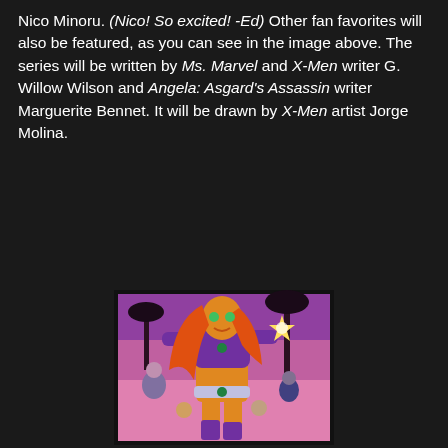Nico Minoru. (Nico! So excited! -Ed) Other fan favorites will also be featured, as you can see in the image above. The series will be written by Ms. Marvel and X-Men writer G. Willow Wilson and Angela: Asgard's Assassin writer Marguerite Bennet. It will be drawn by X-Men artist Jorge Molina.
[Figure (illustration): Comic book cover art showing a female superhero character with long red/orange hair, wearing a purple and gold costume, holding a glowing star in one hand. Background is pink/purple with palm trees and several other characters visible in the background.]